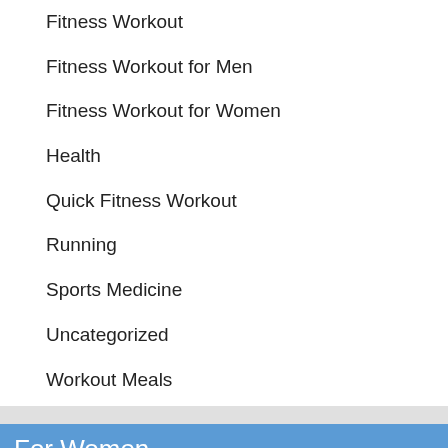Fitness Workout
Fitness Workout for Men
Fitness Workout for Women
Health
Quick Fitness Workout
Running
Sports Medicine
Uncategorized
Workout Meals
For Women
Exercise Before Sleep: 20 Min Cool Down